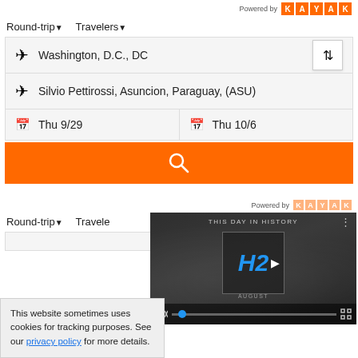[Figure (screenshot): KAYAK flight search widget screenshot. First widget shows: Round-trip and Travelers dropdowns, origin field 'Washington, D.C., DC', destination field 'Silvio Pettirossi, Asuncion, Paraguay, (ASU)', date fields 'Thu 9/29' and 'Thu 10/6', and an orange search button. Below is a partially visible second widget with a cookie notice overlay and a 'This Day in History' video popup.]